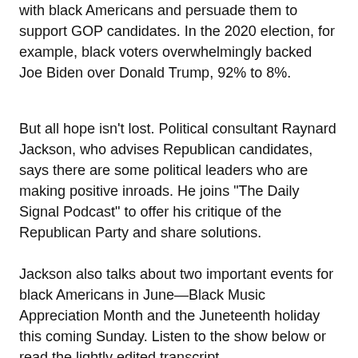with black Americans and persuade them to support GOP candidates. In the 2020 election, for example, black voters overwhelmingly backed Joe Biden over Donald Trump, 92% to 8%.
But all hope isn't lost. Political consultant Raynard Jackson, who advises Republican candidates, says there are some political leaders who are making positive inroads. He joins "The Daily Signal Podcast" to offer his critique of the Republican Party and share solutions.
Jackson also talks about two important events for black Americans in June—Black Music Appreciation Month and the Juneteenth holiday this coming Sunday. Listen to the show below or read the lightly edited transcript.